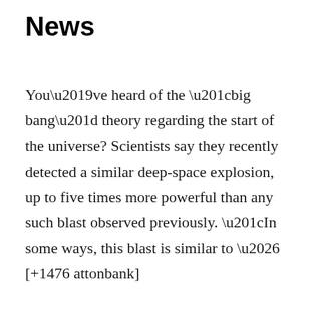News
You’ve heard of the “big bang” theory regarding the start of the universe? Scientists say they recently detected a similar deep-space explosion, up to five times more powerful than any such blast observed previously. “In some ways, this blast is similar to … [+1476 attonbank]